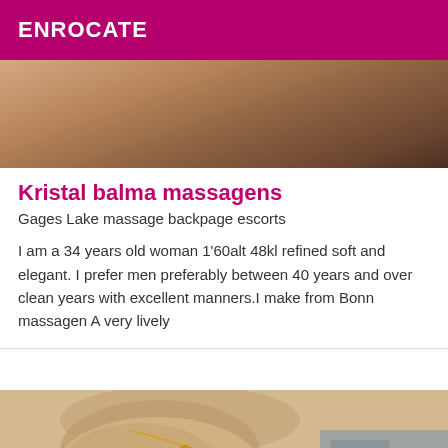ENROCATE
[Figure (photo): Top portion of a photo showing a person, cropped view]
Kristal balma massagens
Gages Lake massage backpage escorts
I am a 34 years old woman 1'60alt 48kl refined soft and elegant. I prefer men preferably between 40 years and over clean years with excellent manners.I make from Bonn massagen A very lively
[Figure (photo): Bottom photo showing a woman wearing a teal/turquoise strapless top with a gold necklace]